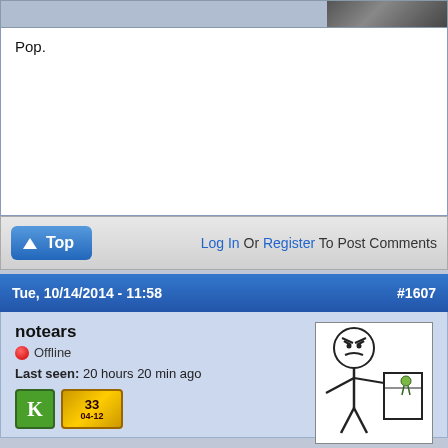[Figure (photo): Partial image at top right, dark toned photo cropped]
Pop.
Log In Or Register To Post Comments
Tue, 10/14/2014 - 11:58   #1607
notears
Offline
Last seen: 20 hours 20 min ago
[Figure (illustration): Rage comic style stick figure holding a box/book, angry face]